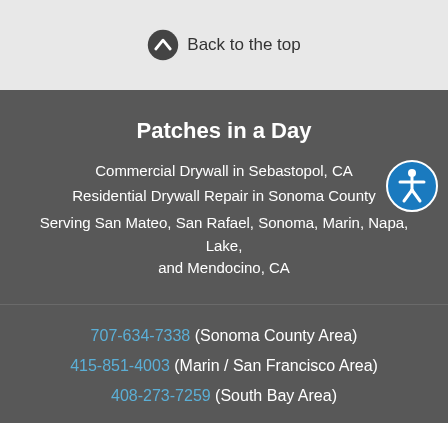Back to the top
Patches in a Day
Commercial Drywall in Sebastopol, CA
Residential Drywall Repair in Sonoma County
Serving San Mateo, San Rafael, Sonoma, Marin, Napa, Lake, and Mendocino, CA
707-634-7338 (Sonoma County Area)
415-851-4003 (Marin / San Francisco Area)
408-273-7259 (South Bay Area)